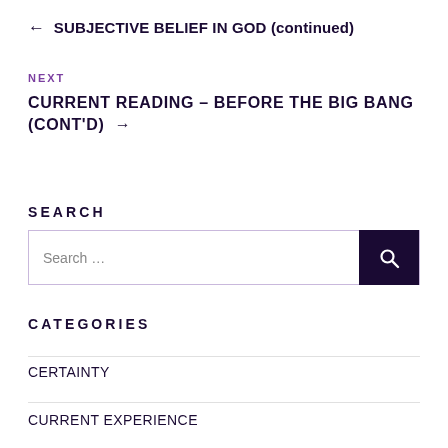← SUBJECTIVE BELIEF IN GOD (continued)
NEXT
CURRENT READING – BEFORE THE BIG BANG (cont'd) →
SEARCH
Search …
CATEGORIES
CERTAINTY
CURRENT EXPERIENCE